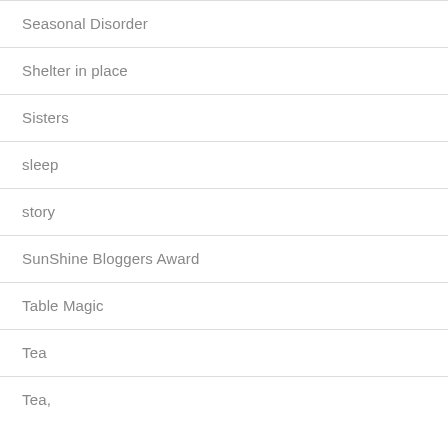Seasonal Disorder
Shelter in place
Sisters
sleep
story
SunShine Bloggers Award
Table Magic
Tea
Tea,